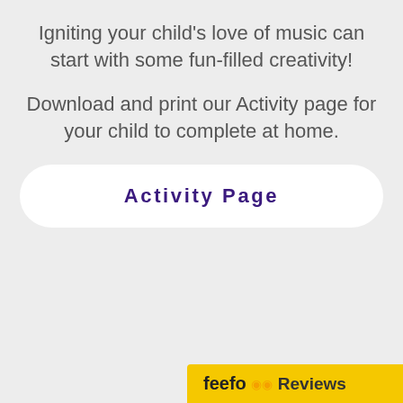Igniting your child's love of music can start with some fun-filled creativity!
Download and print our Activity page for your child to complete at home.
Activity Page
[Figure (logo): Feefo reviews badge with yellow background showing feefo logo and Reviews text]